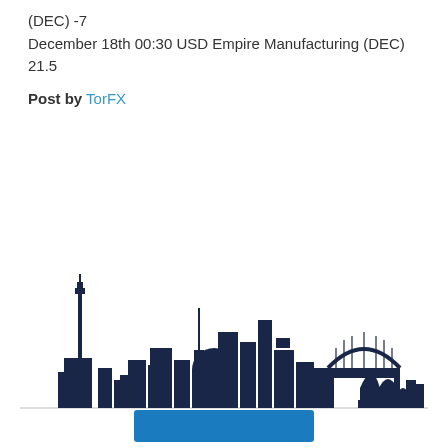(DEC) -7
December 18th 00:30 USD Empire Manufacturing (DEC) 21.5
Post by TorFX
[Figure (illustration): Sydney city skyline silhouette in dark navy blue, featuring recognizable landmarks including a communications tower, city buildings, the Harbour Bridge arch, and the Opera House sail shapes.]
[Figure (other): Dark blue rectangular button at the bottom of the page.]